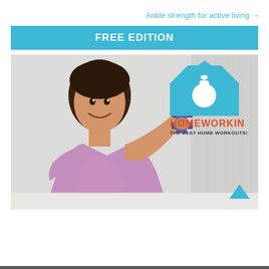Ankle strength for active living →
FREE EDITION
[Figure (photo): Woman in pink/lavender workout top holding a purple dumbbell forward toward the camera, smiling. In the upper right of the image is the Homeworkin logo: a blue house shape with a white kettlebell icon, with text 'HOMEWORKIN' in red/orange bold letters and 'THE BEST HOME WORKOUTS!' in dark letters below.]